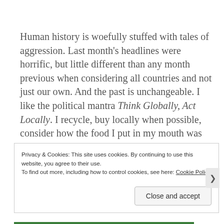Human history is woefully stuffed with tales of aggression. Last month's headlines were horrific, but little different than any month previous when considering all countries and not just our own. And the past is unchangeable. I like the political mantra Think Globally, Act Locally. I recycle, buy locally when possible, consider how the food I put in my mouth was raised and prepared. I always vote, I volunteer for campaigns and I give money
Privacy & Cookies: This site uses cookies. By continuing to use this website, you agree to their use.
To find out more, including how to control cookies, see here: Cookie Policy